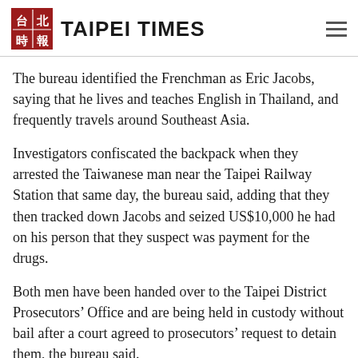TAIPEI TIMES
The bureau identified the Frenchman as Eric Jacobs, saying that he lives and teaches English in Thailand, and frequently travels around Southeast Asia.
Investigators confiscated the backpack when they arrested the Taiwanese man near the Taipei Railway Station that same day, the bureau said, adding that they then tracked down Jacobs and seized US$10,000 he had on his person that they suspect was payment for the drugs.
Both men have been handed over to the Taipei District Prosecutors’ Office and are being held in custody without bail after a court agreed to prosecutors’ request to detain them, the bureau said.
According to investigators, international drug trafficking rings have in recent years recruited more backpackers